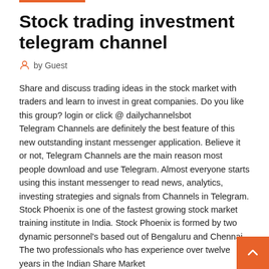Stock trading investment telegram channel
by Guest
Share and discuss trading ideas in the stock market with traders and learn to invest in great companies. Do you like this group? login or click @ dailychannelsbot
Telegram Channels are definitely the best feature of this new outstanding instant messenger application. Believe it or not, Telegram Channels are the main reason most people download and use Telegram. Almost everyone starts using this instant messenger to read news, analytics, investing strategies and signals from Channels in Telegram. Stock Phoenix is one of the fastest growing stock market training institute in India. Stock Phoenix is formed by two dynamic personnel's based out of Bengaluru and Chennai. The two professionals who has experience over twelve years in the Indian Share Market